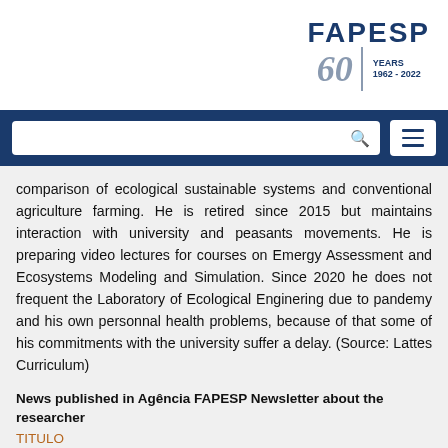FAPESP 60 YEARS 1962-2022
comparison of ecological sustainable systems and conventional agriculture farming. He is retired since 2015 but maintains interaction with university and peasants movements. He is preparing video lectures for courses on Emergy Assessment and Ecosystems Modeling and Simulation. Since 2020 he does not frequent the Laboratory of Ecological Enginering due to pandemy and his own personnal health problems, because of that some of his commitments with the university suffer a delay. (Source: Lattes Curriculum)
News published in Agência FAPESP Newsletter about the researcher
TITULO
Articles published in other media outlets (0 total):